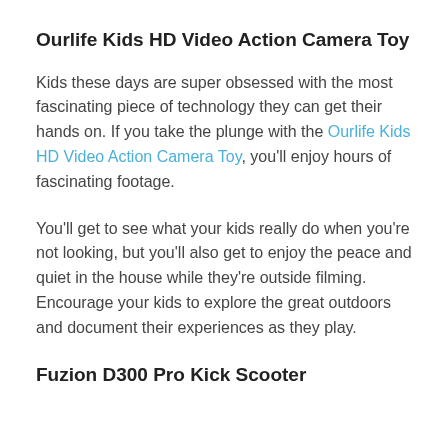Ourlife Kids HD Video Action Camera Toy
Kids these days are super obsessed with the most fascinating piece of technology they can get their hands on. If you take the plunge with the Ourlife Kids HD Video Action Camera Toy, you’ll enjoy hours of fascinating footage.
You’ll get to see what your kids really do when you’re not looking, but you’ll also get to enjoy the peace and quiet in the house while they’re outside filming. Encourage your kids to explore the great outdoors and document their experiences as they play.
Fuzion D300 Pro Kick Scooter